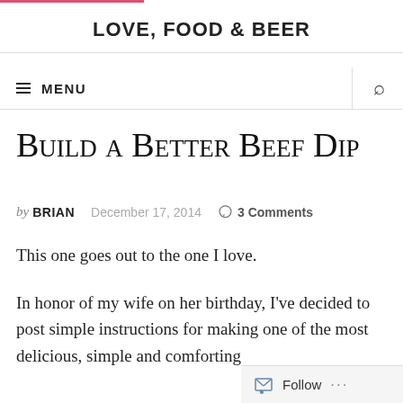LOVE, FOOD & BEER
MENU
Build a Better Beef Dip
by BRIAN  December 17, 2014  3 Comments
This one goes out to the one I love.
In honor of my wife on her birthday, I've decided to post simple instructions for making one of the most delicious, simple and comforting